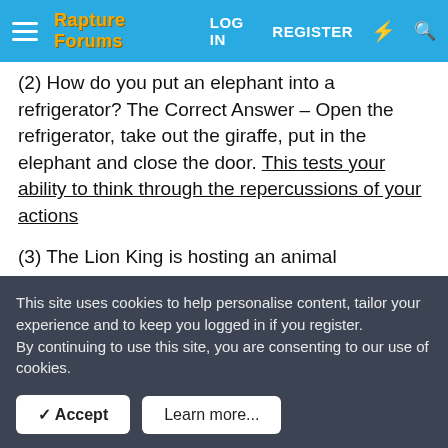Rapture Forums | LOG IN | REGISTER
(2) How do you put an elephant into a refrigerator? The Correct Answer – Open the refrigerator, take out the giraffe, put in the elephant and close the door. This tests your ability to think through the repercussions of your actions
(3) The Lion King is hosting an animal conference. All the animals attend except one. Which animal does not attend? The Correct Answer – The elephant. He is in the refrigerator. This tests your memory
(4) There is a river you must cross. But it is inhabited by crocodiles. How do you manage it? The Correct Answer – You
This site uses cookies to help personalise content, tailor your experience and to keep you logged in if you register.
By continuing to use this site, you are consenting to our use of cookies.